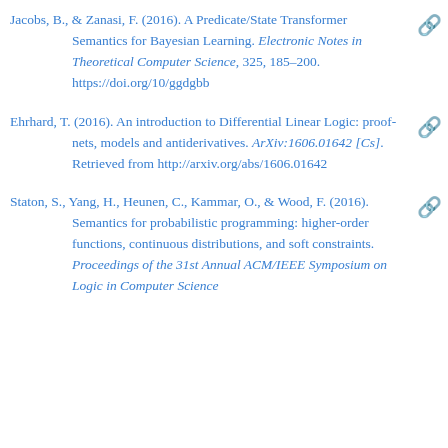Jacobs, B., & Zanasi, F. (2016). A Predicate/State Transformer Semantics for Bayesian Learning. Electronic Notes in Theoretical Computer Science, 325, 185–200. https://doi.org/10/ggdgbb
Ehrhard, T. (2016). An introduction to Differential Linear Logic: proof-nets, models and antiderivatives. ArXiv:1606.01642 [Cs]. Retrieved from http://arxiv.org/abs/1606.01642
Staton, S., Yang, H., Heunen, C., Kammar, O., & Wood, F. (2016). Semantics for probabilistic programming: higher-order functions, continuous distributions, and soft constraints. Proceedings of the 31st Annual ACM/IEEE Symposium on Logic in Computer Science